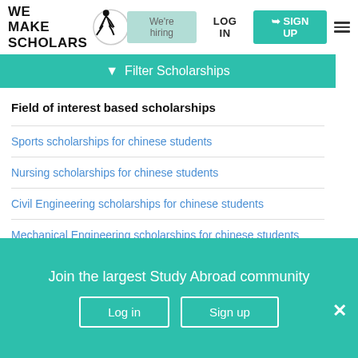[Figure (logo): We Make Scholars logo with silhouette figure and circular emblem]
We're hiring  LOG IN  SIGN UP
▼ Filter Scholarships
Field of interest based scholarships
Sports scholarships for chinese students
Nursing scholarships for chinese students
Civil Engineering scholarships for chinese students
Mechanical Engineering scholarships for chinese students
Join the largest Study Abroad community
Log in  Sign up